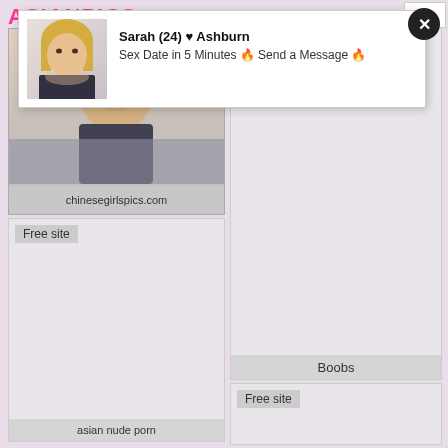[Figure (screenshot): Website screenshot of ASIANPICS adult content aggregator with popup ad showing Sarah (24) from Ashburn, profile photo of blonde woman, and image cards with labels 'chinesegirlspics.com', 'Free site', 'Boobs', 'asian nude porn']
Sarah (24) ♥ Ashburn
Sex Date in 5 Minutes 🔥 Send a Message 🔥
chinesegirlspics.com
Free site
Boobs
Free site
asian nude porn